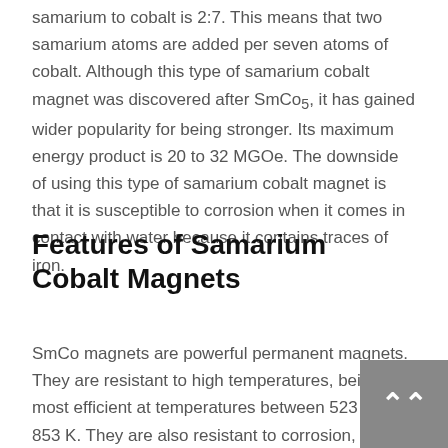samarium to cobalt is 2:7. This means that two samarium atoms are added per seven atoms of cobalt. Although this type of samarium cobalt magnet was discovered after SmCo5, it has gained wider popularity for being stronger. Its maximum energy product is 20 to 32 MGOe. The downside of using this type of samarium cobalt magnet is that it is susceptible to corrosion when it comes in contact with water because it contains traces of iron.
Features of Samarium Cobalt Magnets
SmCo magnets are powerful permanent magnets. They are resistant to high temperatures, being most efficient at temperatures between 523 K and 853 K. They are also resistant to corrosion, oxidation, and